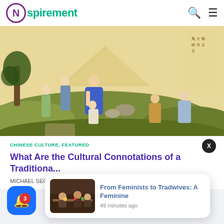Nspirement
[Figure (illustration): Traditional Chinese painting showing several figures in classical robes in an outdoor garden/court setting, with Chinese calligraphy text on the right side]
CHINESE CULTURE, FEATURED
What Are the Cultural Connotations of a Traditiona...
MICHAEL SEG...
[Figure (photo): Small thumbnail showing people seated at a table dining]
From Feminists to Tradwives: A Feminine
49 minutes ago